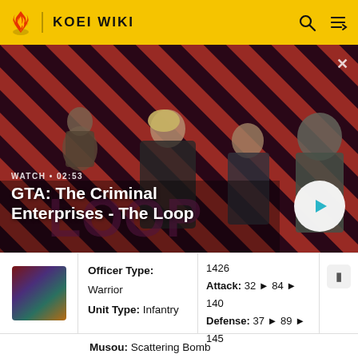KOEI WIKI
[Figure (screenshot): GTA: The Criminal Enterprises - The Loop video thumbnail with striped red/black background and four characters. Shows WATCH • 02:53 label and play button.]
GTA: The Criminal Enterprises - The Loop
|  | Officer Info | Stats |  |
| --- | --- | --- | --- |
| [thumb] | Officer Type: Warrior
Unit Type: Infantry | 1426
Attack: 32 ▶ 84 ▶ 140
Defense: 37 ▶ 89 ▶ 145 | ≡ |
|  | Musou: Scattering Bomb |  |  |